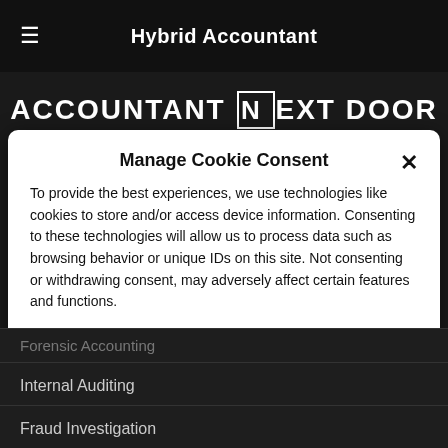Hybrid Accountant
[Figure (logo): ACCOUNTANT NEXT DOOR logo with stylized N and D letterform, subtitle: Hybrid Accountant]
Manage Cookie Consent
To provide the best experiences, we use technologies like cookies to store and/or access device information. Consenting to these technologies will allow us to process data such as browsing behavior or unique IDs on this site. Not consenting or withdrawing consent, may adversely affect certain features and functions.
ACCEPT
Cookie Policy  YOUR PRIVACY
Forensic Accounting
Internal Auditing
Fraud Investigation